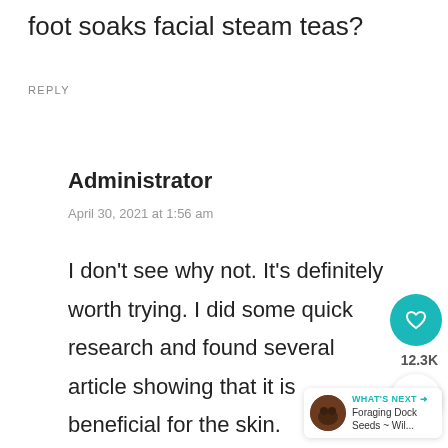foot soaks facial steam teas?
REPLY
Administrator
April 30, 2021 at 1:56 am
I don't see why not. It's definitely worth trying. I did some quick research and found several articles showing that it is beneficial for the skin.